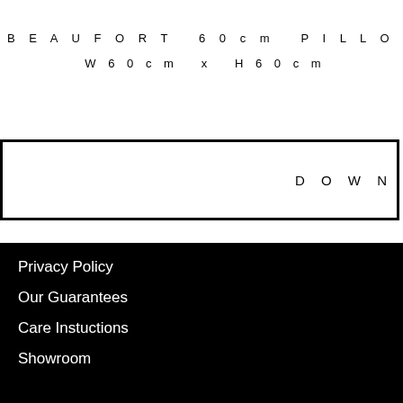BEAUFORT 60cm PILLOW SCATTER
W60cm x H60cm
DOWN
Privacy Policy
Our Guarantees
Care Instuctions
Showroom